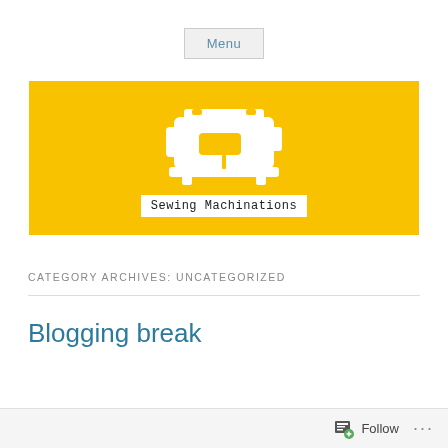Menu
[Figure (logo): Yellow banner with white sewing machine illustration and text 'Sewing Machinations']
CATEGORY ARCHIVES: UNCATEGORIZED
Blogging break
Follow ...